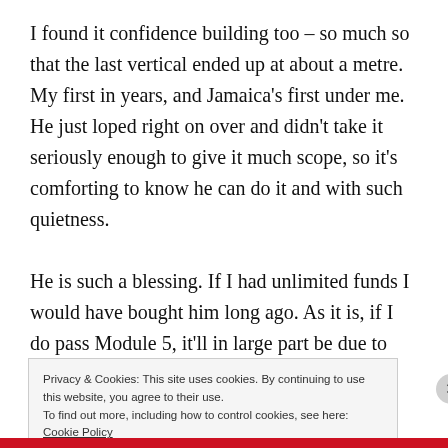I found it confidence building too – so much so that the last vertical ended up at about a metre. My first in years, and Jamaica's first under me. He just loped right on over and didn't take it seriously enough to give it much scope, so it's comforting to know he can do it and with such quietness.

He is such a blessing. If I had unlimited funds I would have bought him long ago. As it is, if I do pass Module 5, it'll in large part be due to what God is doing for me
Privacy & Cookies: This site uses cookies. By continuing to use this website, you agree to their use.
To find out more, including how to control cookies, see here: Cookie Policy
Close and accept